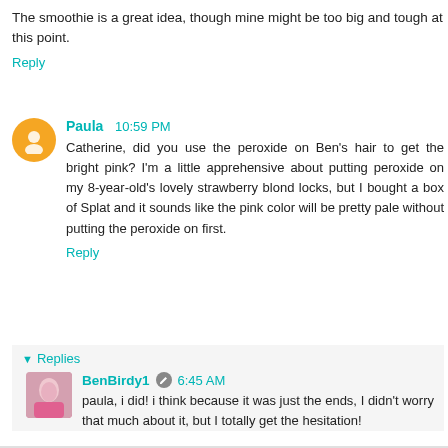The smoothie is a great idea, though mine might be too big and tough at this point.
Reply
Paula  10:59 PM
Catherine, did you use the peroxide on Ben's hair to get the bright pink? I'm a little apprehensive about putting peroxide on my 8-year-old's lovely strawberry blond locks, but I bought a box of Splat and it sounds like the pink color will be pretty pale without putting the peroxide on first.
Reply
Replies
BenBirdy1  6:45 AM
paula, i did! i think because it was just the ends, I didn't worry that much about it, but I totally get the hesitation!